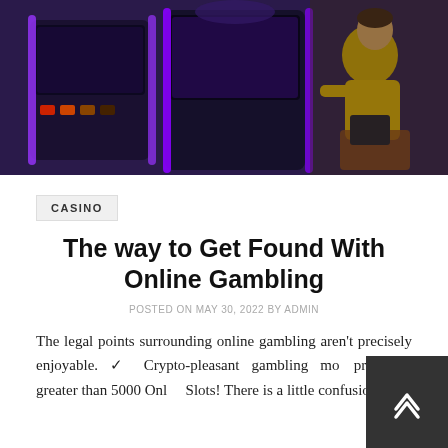[Figure (photo): Photo of a person in a yellow shirt sitting at a casino slot machine with purple LED lighting]
CASINO
The way to Get Found With Online Gambling
POSTED ON MAY 30, 2022 BY ADMIN
The legal points surrounding online gambling aren't precisely enjoyable. ✓ Crypto-pleasant gambling mo... providing greater than 5000 Onli... Slots! There is a little confusion